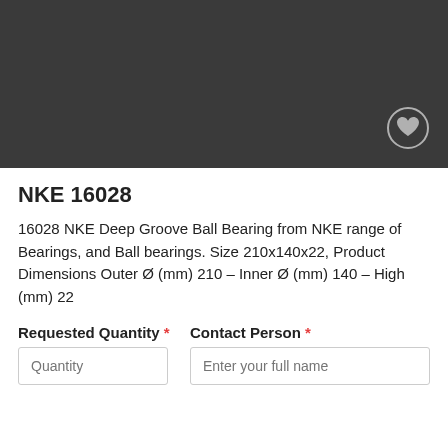[Figure (photo): Dark gray product image area with a circular heart/wishlist button in the bottom right corner]
NKE 16028
16028 NKE Deep Groove Ball Bearing from NKE range of Bearings, and Ball bearings. Size 210x140x22, Product Dimensions Outer Ø (mm) 210 – Inner Ø (mm) 140 – High (mm) 22
Requested Quantity * [input field: Quantity placeholder]  Contact Person * [input field: Enter your full name placeholder]